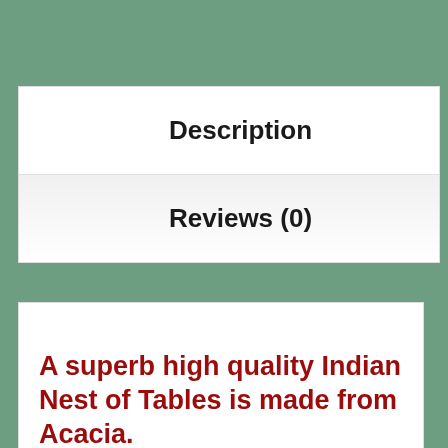Description
Reviews (0)
A superb high quality Indian Nest of Tables is made from Acacia.